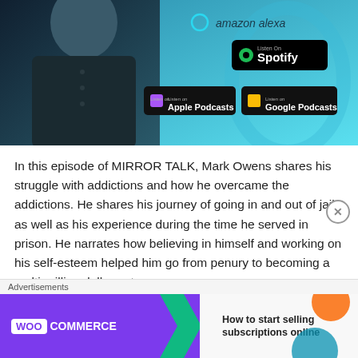[Figure (screenshot): Podcast episode hero image showing a person in a dark shirt on the left, with Amazon Alexa branding, Spotify badge, Apple Podcasts badge, and Google Podcasts badge on a teal/blue gradient background on the right.]
In this episode of MIRROR TALK, Mark Owens shares his struggle with addictions and how he overcame the addictions. He shares his journey of going in and out of jail as well as his experience during the time he served in prison. He narrates how believing in himself and working on his self-esteem helped him go from penury to becoming a multi-million dollar entrepreneur.
Tobi  June 29, 2021  Podcast Episodes
[Figure (screenshot): WooCommerce advertisement banner: purple background on left with WooCommerce logo and green arrow, white section on right with text 'How to start selling subscriptions online' and colorful orange and teal decorative blobs.]